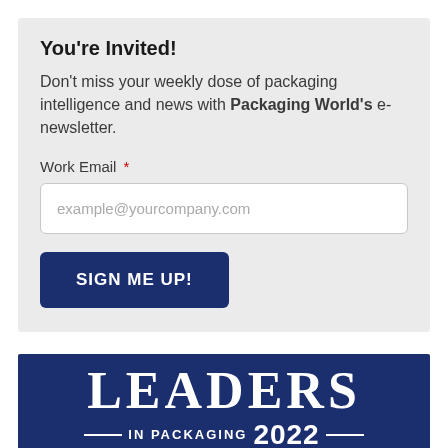You're Invited!
Don't miss your weekly dose of packaging intelligence and news with Packaging World's e-newsletter.
Work Email *
example@yourcompany.com
SIGN ME UP!
[Figure (logo): Leaders in Packaging 2022 banner logo on dark navy blue background]
BUSINESS DRIVERS / SPECIALTY